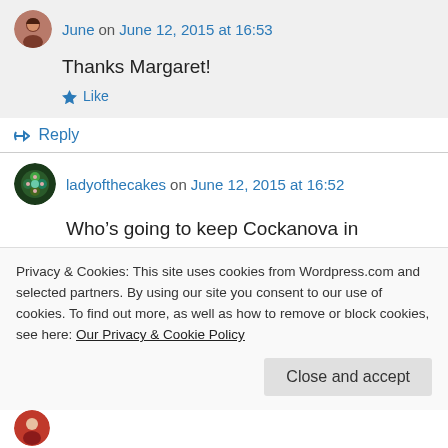June on June 12, 2015 at 16:53
Thanks Margaret!
Like
Reply
ladyofthecakes on June 12, 2015 at 16:52
Who’s going to keep Cockanova in check??? …I see trouble ahead…
Privacy & Cookies: This site uses cookies from Wordpress.com and selected partners. By using our site you consent to our use of cookies. To find out more, as well as how to remove or block cookies, see here: Our Privacy & Cookie Policy
Close and accept